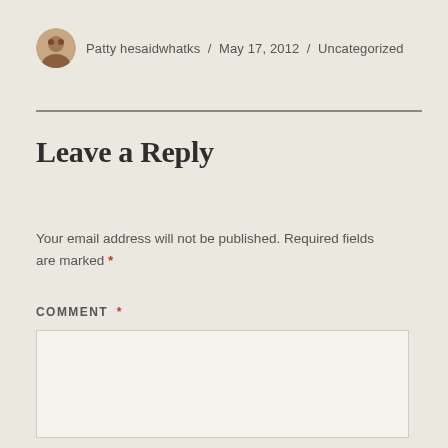Patty hesaidwhatks / May 17, 2012 / Uncategorized
Leave a Reply
Your email address will not be published. Required fields are marked *
COMMENT *